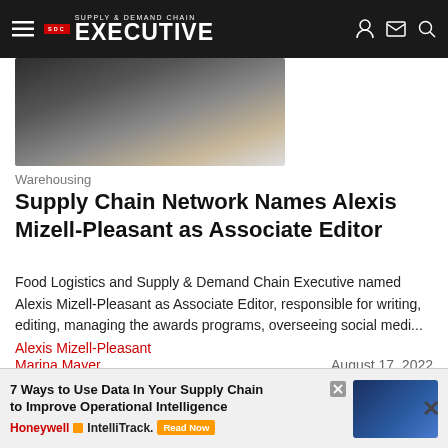Supply & Demand Chain Executive
[Figure (photo): Partial photo of a woman with dark clothing, top portion of body visible]
Warehousing
Supply Chain Network Names Alexis Mizell-Pleasant as Associate Editor
Food Logistics and Supply & Demand Chain Executive named Alexis Mizell-Pleasant as Associate Editor, responsible for writing, editing, managing the awards programs, overseeing social medi...
Alexis Mizell-Pleasant
Marina Mayer
August 17, 2022
[Figure (photo): Partial photo of warehouse workers with yellow hard hats visible at the bottom of the page]
[Figure (other): Advertisement banner: 7 Ways to Use Data In Your Supply Chain to Improve Operational Intelligence - Honeywell IntelliTrack. Read Now]